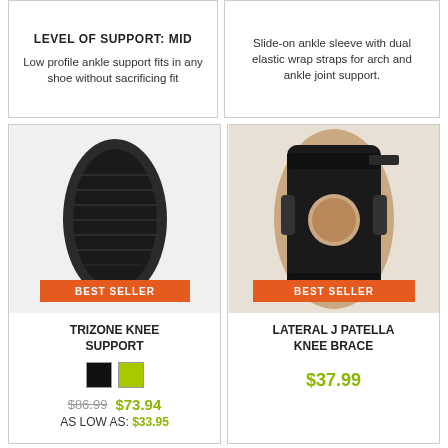LEVEL OF SUPPORT: MID
Low profile ankle support fits in any shoe without sacrificing fit
Slide-on ankle sleeve with dual elastic wrap straps for arch and ankle joint support.
[Figure (photo): Black knee support compression sleeve on a leg, with BEST SELLER orange badge]
TRIZONE KNEE SUPPORT
$86.99  $73.94
AS LOW AS: $33.95
[Figure (photo): Black lateral J patella knee brace with open patella on a leg, with BEST SELLER orange badge]
LATERAL J PATELLA KNEE BRACE
$37.99